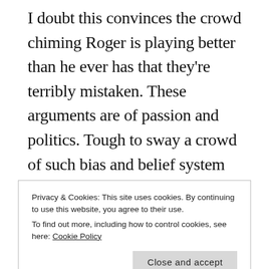I doubt this convinces the crowd chiming Roger is playing better than he ever has that they're terribly mistaken. These arguments are of passion and politics. Tough to sway a crowd of such bias and belief system blue balls. Roger is an older fellow, none the less. He will not tear through every half of the draw that's his. Not in 2015. He just won a 500 and he has WTF in a week and a half. This loss today should be anything but shocking. Congrats to Big John. Get some rest,
Privacy & Cookies: This site uses cookies. By continuing to use this website, you agree to their use.
To find out more, including how to control cookies, see here: Cookie Policy
for that end of year peak (hoping at least)!